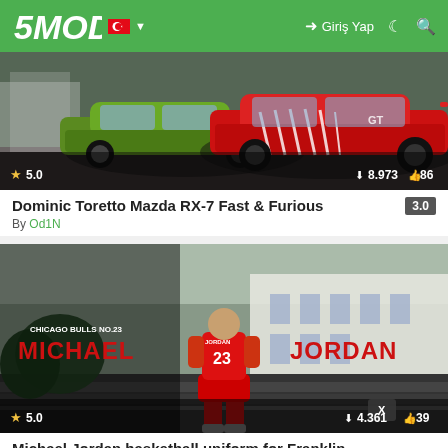5MODS | Giriş Yap
[Figure (screenshot): GTA mod screenshot showing Dominic Toretto Mazda RX-7 Fast & Furious red car, rating 5.0, downloads 8.973, likes 86]
Dominic Toretto Mazda RX-7 Fast & Furious   3.0
By Od1N
[Figure (screenshot): GTA mod screenshot showing Michael Jordan basketball uniform for Franklin, player in Chicago Bulls No.23 red jersey, rating 5.0, downloads 4.361, likes 39]
Michael Jordan basketball uniform for Franklin